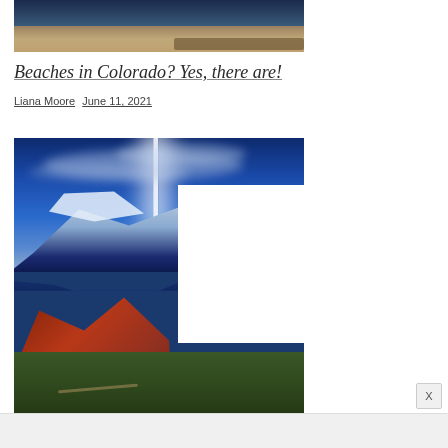[Figure (photo): Aerial or landscape photo showing sandy/desert terrain with dark sky, partially visible at top of page]
Beaches in Colorado? Yes, there are!
Liana Moore   June 11, 2021
[Figure (photo): Landscape photo of Garden of the Gods and Pikes Peak area in Colorado Springs, showing red rock formations, blue ridge mountains with snow cap, dramatic sky with cloud streaks and a bright light column, green vegetation in foreground]